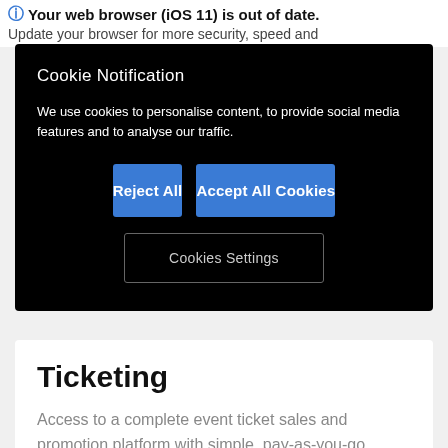Your web browser (iOS 11) is out of date. Update your browser for more security, speed and
Cookie Notification
We use cookies to personalise content, to provide social media features and to analyse our traffic.
Reject All
Accept All Cookies
Cookies Settings
Ticketing
Access to a complete event ticket sales and promotion platform with simple, pay-as-you-go pricing.